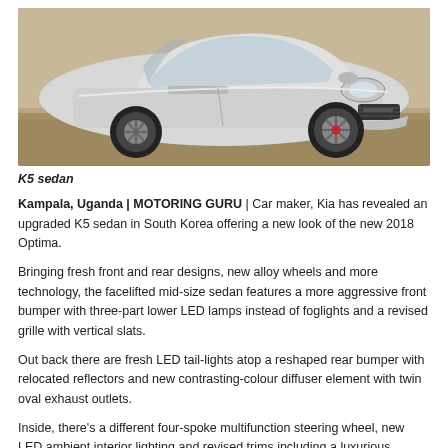[Figure (photo): Silver Kia K5 sedan photographed from a front three-quarter angle on a dusty/sandy outdoor surface]
K5 sedan
Kampala, Uganda | MOTORING GURU | Car maker, Kia has revealed an upgraded K5 sedan in South Korea offering a new look of the new 2018 Optima.
Bringing fresh front and rear designs, new alloy wheels and more technology, the facelifted mid-size sedan features a more aggressive front bumper with three-part lower LED lamps instead of foglights and a revised grille with vertical slats.
Out back there are fresh LED tail-lights atop a reshaped rear bumper with relocated reflectors and new contrasting-colour diffuser element with twin oval exhaust outlets.
Inside, there's a different four-spoke multifunction steering wheel, new LED ambient interior lighting and revised trims including a luxurious quilted leather option.